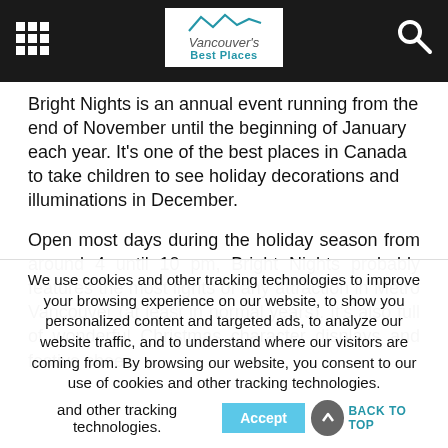Vancouver's Best Places
Bright Nights is an annual event running from the end of November until the beginning of January each year. It's one of the best places in Canada to take children to see holiday decorations and illuminations in December.
Open most days during the holiday season from around 4 until 10 pm, Bright Nights probably features the most lights of any attraction in Metro Vancouver (at least in normal years). It's also full of wonderful Christmas character displays and festive cheer.
We use cookies and other tracking technologies to improve your browsing experience on our website, to show you personalized content and targeted ads, to analyze our website traffic, and to understand where our visitors are coming from. By browsing our website, you consent to our use of cookies and other tracking technologies.